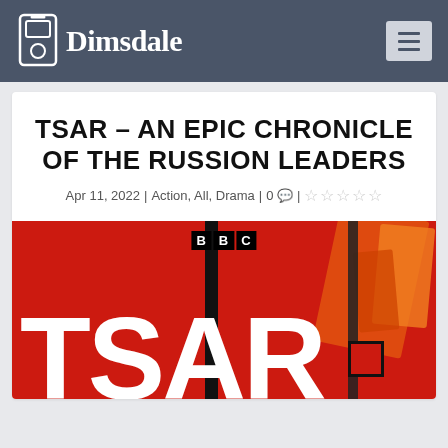Dimsdale
TSAR – AN EPIC CHRONICLE OF THE RUSSION LEADERS
Apr 11, 2022 | Action, All, Drama | 0 💬 | ☆☆☆☆☆
[Figure (photo): BBC TSAR audiobook/podcast cover art on a red background with large white TSAR text and abstract orange shapes]